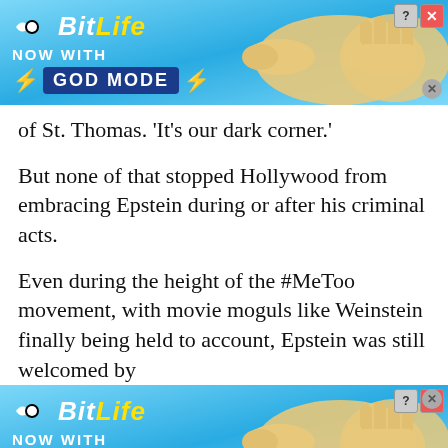[Figure (screenshot): BitLife 'NOW WITH GOD MODE' advertisement banner at top of page]
of St. Thomas. 'It's our dark corner.'
But none of that stopped Hollywood from embracing Epstein during or after his criminal acts.
Even during the height of the #MeToo movement, with movie moguls like Weinstein finally being held to account, Epstein was still welcomed by
[Figure (screenshot): BitLife 'NOW WITH GOD MODE' advertisement banner at bottom of page]